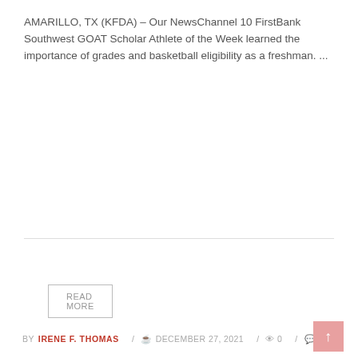AMARILLO, TX (KFDA) – Our NewsChannel 10 FirstBank Southwest GOAT Scholar Athlete of the Week learned the importance of grades and basketball eligibility as a freshman. ...
READ MORE
SCHOLAR
BY IRENE F. THOMAS / DECEMBER 27, 2021 / 0 / 0